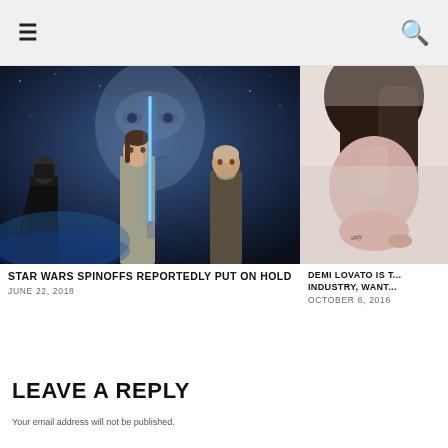☰  🔍
[Figure (photo): Star Wars The Last Jedi movie poster showing Rey with blue lightsaber, Kylo Ren and Luke Skywalker with large face in background]
STAR WARS SPINOFFS REPORTEDLY PUT ON HOLD
JUNE 22, 2018
[Figure (photo): Partial photo of Demi Lovato showing hair and tattoo on wrist]
DEMI LOVATO IS T... INDUSTRY, WANT...
OCTOBER 6, 2016
LEAVE A REPLY
Your email address will not be published.